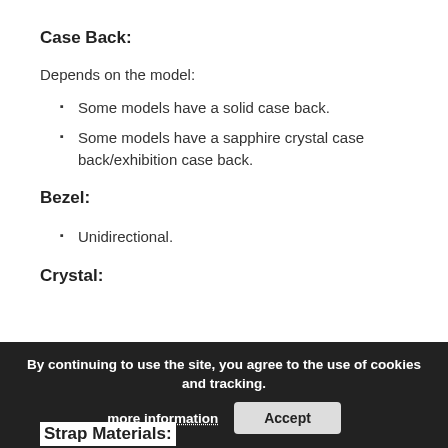Case Back:
Depends on the model:
Some models have a solid case back.
Some models have a sapphire crystal case back/exhibition case back.
Bezel:
Unidirectional.
Crystal:
By continuing to use the site, you agree to the use of cookies and tracking. more information  Accept
Strap Materials: